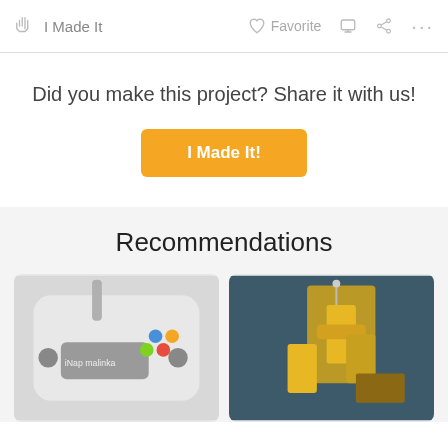I Made It | Favorite
Did you make this project? Share it with us!
[Figure (screenshot): Orange button labeled 'I Made It!']
Recommendations
[Figure (photo): Photo of a white handheld device labeled 'iNap malinka' with colorful buttons and an antenna]
[Figure (photo): Photo of a yellow 3D-printed robotic arm on a dark background]